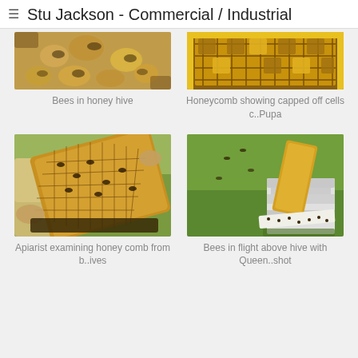Stu Jackson - Commercial / Industrial
[Figure (photo): Close-up photo of bees clustered together in a honey hive, showing yellow/golden bees densely packed]
Bees in honey hive
[Figure (photo): Close-up of honeycomb showing capped off cells with hexagonal pattern, yellow and brown tones]
Honeycomb showing capped off cells c..Pupa
[Figure (photo): Apiarist in protective clothing holding up a honeycomb frame covered in bees on a sunny day]
Apiarist examining honey comb from b..ives
[Figure (photo): Beekeeping equipment including frames and hive boxes on grass, with bees visible]
Bees in flight above hive with Queen..shot